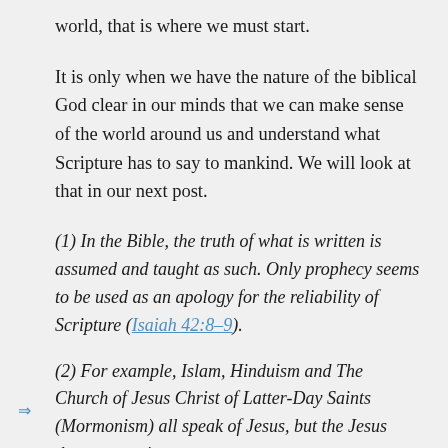world, that is where we must start.
It is only when we have the nature of the biblical God clear in our minds that we can make sense of the world around us and understand what Scripture has to say to mankind. We will look at that in our next post.
(1) In the Bible, the truth of what is written is assumed and taught as such. Only prophecy seems to be used as an apology for the reliability of Scripture (Isaiah 42:8–9).
(2) For example, Islam, Hinduism and The Church of Jesus Christ of Latter-Day Saints (Mormonism) all speak of Jesus, but the Jesus they present is not